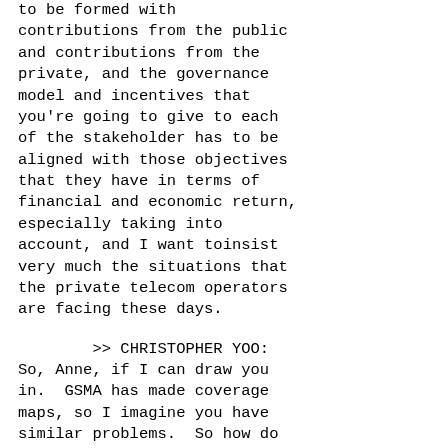to be formed with contributions from the public and contributions from the private, and the governance model and incentives that you're going to give to each of the stakeholder has to be aligned with those objectives that they have in terms of financial and economic return, especially taking into account, and I want toinsist very much the situations that the private telecom operators are facing these days.
>> CHRISTOPHER YOO: So, Anne, if I can draw you in.  GSMA has made coverage maps, so I imagine you have similar problems.  So how do you convince people to contribute the information to the coverage maps, and are